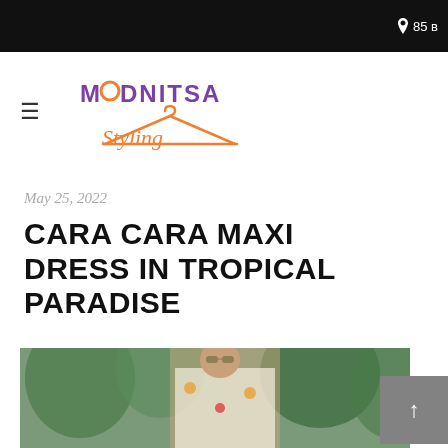85 B
[Figure (logo): Modnitsa Styling logo with purple text MODNITSA and orange italic script Styling below a hanger icon]
May 25, 2022
CARA CARA MAXI DRESS IN TROPICAL PARADISE
[Figure (photo): Woman wearing a floral maxi dress with tropical fruit print, sunglasses, outdoors with green plants in background]